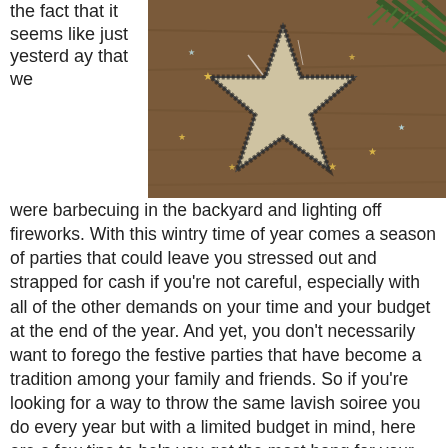the fact that it seems like just yesterday that we
[Figure (photo): A wooden star-shaped decoration dusted with sugar or glitter, surrounded by small gold star confetti and pine branches on a rustic wooden surface.]
were barbecuing in the backyard and lighting off fireworks. With this wintry time of year comes a season of parties that could leave you stressed out and strapped for cash if you're not careful, especially with all of the other demands on your time and your budget at the end of the year. And yet, you don't necessarily want to forego the festive parties that have become a tradition among your family and friends. So if you're looking for a way to throw the same lavish soiree you do every year but with a limited budget in mind, here are a few tips to help you get the most bang for your buck.
Food
You can spend a lot of money keeping your guests well fed if you're not careful. And yet, you might not be too keen on the idea of going buffet-style. In this case, you might want